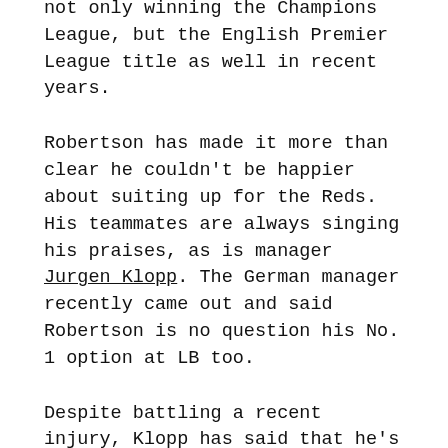not only winning the Champions League, but the English Premier League title as well in recent years.
Robertson has made it more than clear he couldn't be happier about suiting up for the Reds. His teammates are always singing his praises, as is manager Jurgen Klopp. The German manager recently came out and said Robertson is no question his No. 1 option at LB too.
Despite battling a recent injury, Klopp has said that he's ready to rock with 'Robbo' due to him being fantastic. In his absence, Kostas Tsimikas has played well, but Robertson is all set to retain his starting spot.
In the 2019-20 championship season for Liverpool, Robertson recorded 12 assists and two goals. Not bad for a left back, right? The combo of him and Trent Alexander-Arnold flying